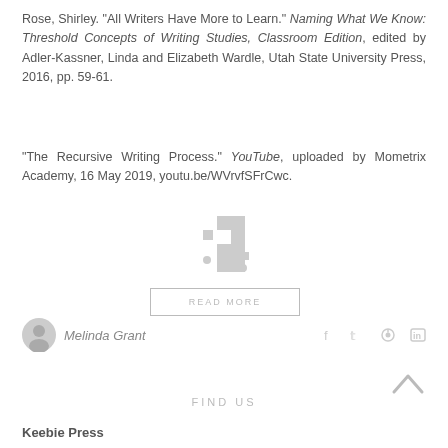Rose, Shirley. "All Writers Have More to Learn." Naming What We Know: Threshold Concepts of Writing Studies, Classroom Edition, edited by Adler-Kassner, Linda and Elizabeth Wardle, Utah State University Press, 2016, pp. 59-61.
"The Recursive Writing Process." YouTube, uploaded by Mometrix Academy, 16 May 2019, youtu.be/WVrvfSFrCwc.
[Figure (other): READ MORE button with decorative pixel/dot graphic above it]
Melinda Grant
[Figure (other): Social media icons: Facebook, Twitter, Pinterest, LinkedIn]
[Figure (other): Back to top arrow (caret up)]
FIND US
Keebie Press